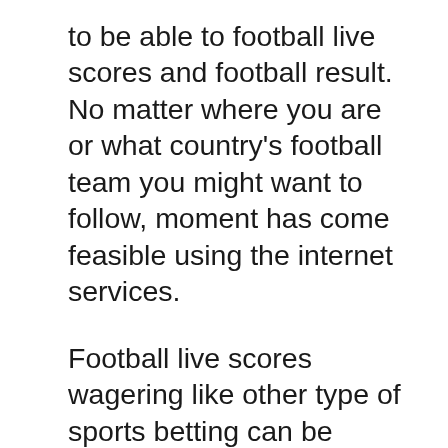to be able to football live scores and football result. No matter where you are or what country's football team you might want to follow, moment has come feasible using the internet services.
Football live scores wagering like other type of sports betting can be extremely common. People jump into this circle of sports enthusiasts, you should state how to put smart bets and get top picks before you invest an excessive chunk of the money. Secure this? First, you might want to really be well-versed all over the sports. Once you learn the leagues' history, player and team profiles as well as their emotional and personal backgrounds exactly what really goes inside those teams, you have better